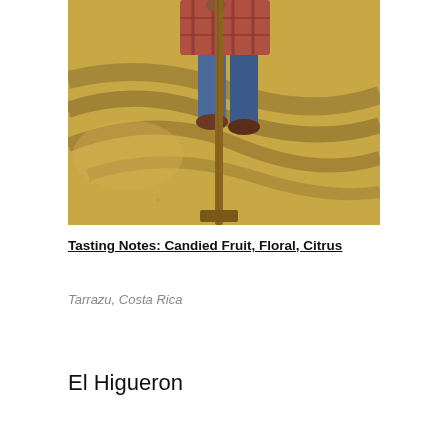[Figure (photo): A person raking or spreading coffee beans on a drying bed. The person is wearing jeans and a plaid shirt, using a long wooden rake. The coffee beans are spread across a large flat surface creating rippled patterns and shadows.]
Tasting Notes: Candied Fruit, Floral, Citrus
Tarrazu, Costa Rica
El Higueron